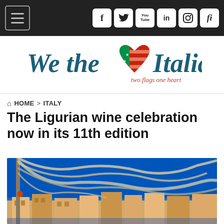Navigation bar with hamburger menu and social icons: Facebook, Twitter, YouTube, LinkedIn, Instagram, fi
[Figure (logo): We the Italians logo with heart made of American and Italian flags, tagline: two flags one heart]
HOME > ITALY
The Ligurian wine celebration now in its 11th edition
[Figure (photo): Photo of a Mediterranean coastal town scene with boat rigging/ropes draped in the foreground against a bright blue sky, colorful buildings visible in the background]